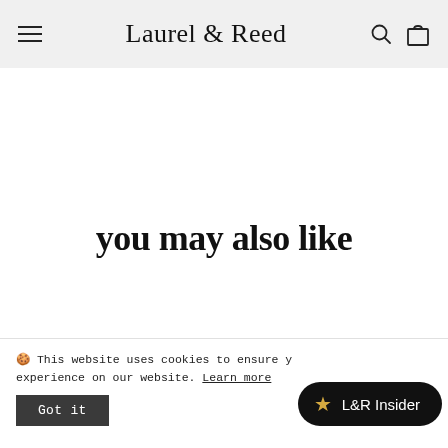Laurel & Reed
you may also like
🍪 This website uses cookies to ensure you get the best experience on our website. Learn more
Got it
⭐ L&R Insider